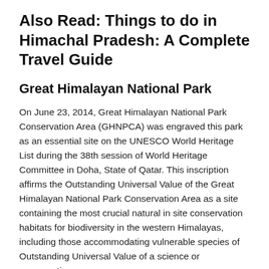Also Read: Things to do in Himachal Pradesh: A Complete Travel Guide
Great Himalayan National Park
On June 23, 2014, Great Himalayan National Park Conservation Area (GHNPCA) was engraved this park as an essential site on the UNESCO World Heritage List during the 38th session of World Heritage Committee in Doha, State of Qatar. This inscription affirms the Outstanding Universal Value of the Great Himalayan National Park Conservation Area as a site containing the most crucial natural in site conservation habitats for biodiversity in the western Himalayas, including those accommodating vulnerable species of Outstanding Universal Value of a science or conservation.
This national park is situated in the Kullu district of